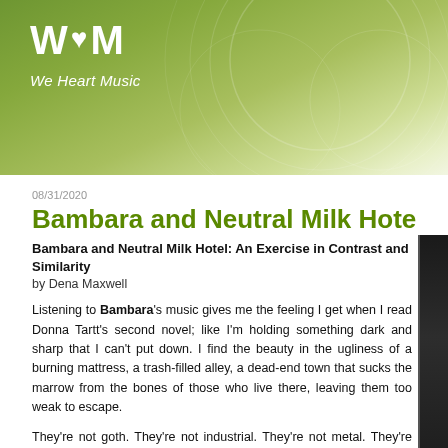W♥M We Heart Music
08/31/2020
Bambara and Neutral Milk Hotel: An Exercis…
Bambara and Neutral Milk Hotel: An Exercise in Contrast and Similarity
by Dena Maxwell
Listening to Bambara's music gives me the feeling I get when I read Donna Tartt's second novel; like I'm holding something dark and sharp that I can't put down. I find the beauty in the ugliness of a burning mattress, a trash-filled alley, a dead-end town that sucks the marrow from the bones of those who live there, leaving them too weak to escape.
They're not goth. They're not industrial. They're not metal. They're not punk. They combine elements of all of those, without being tied down to any one of them. You can't really categorize Bambara